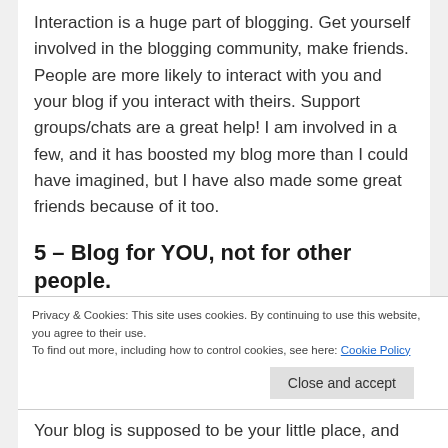Interaction is a huge part of blogging. Get yourself involved in the blogging community, make friends. People are more likely to interact with you and your blog if you interact with theirs. Support groups/chats are a great help! I am involved in a few, and it has boosted my blog more than I could have imagined, but I have also made some great friends because of it too.
5 – Blog for YOU, not for other people.
This is probably the most important tip! Don't worry too much about what other people are doing on
Privacy & Cookies: This site uses cookies. By continuing to use this website, you agree to their use.
To find out more, including how to control cookies, see here: Cookie Policy
Your blog is supposed to be your little place, and